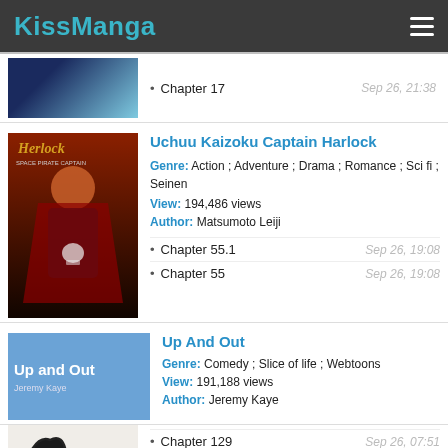KissManga
Chapter 17 — Sep 26, 21:38
Uchuu Kaizoku Captain Harlock
Genre: Action ; Adventure ; Drama ; Romance ; Sci fi ; Seinen
View: 194,486 views
Author: Matsumoto Leiji
Chapter 55.1 — Sep 26, 19:08
Chapter 55 — Sep 26, 19:08
Up And Out
Genre: Comedy ; Slice of life ; Webtoons
View: 191,188 views
Author: Jeremy Kaye
Chapter 129 — Sep 26, 07:51
Chapter 128 — Sep 26, 07:51